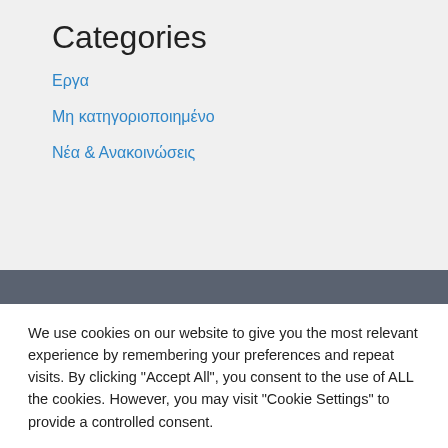Categories
Εργα
Μη κατηγοριοποιημένο
Νέα & Ανακοινώσεις
We use cookies on our website to give you the most relevant experience by remembering your preferences and repeat visits. By clicking "Accept All", you consent to the use of ALL the cookies. However, you may visit "Cookie Settings" to provide a controlled consent.
Cookie Settings | Accept All